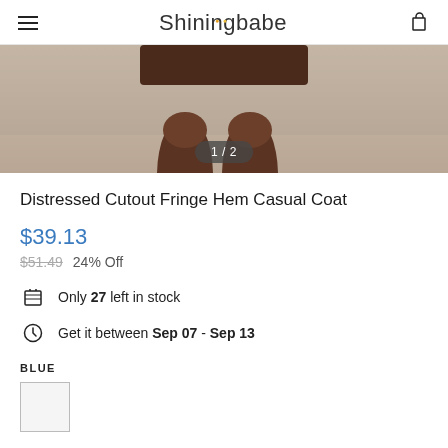Shiningbabe
[Figure (photo): Product photo showing legs of model wearing coat, image counter overlay showing 1/2]
Distressed Cutout Fringe Hem Casual Coat
$39.13
$51.49  24% Off
Only 27 left in stock
Get it between Sep 07 - Sep 13
BLUE